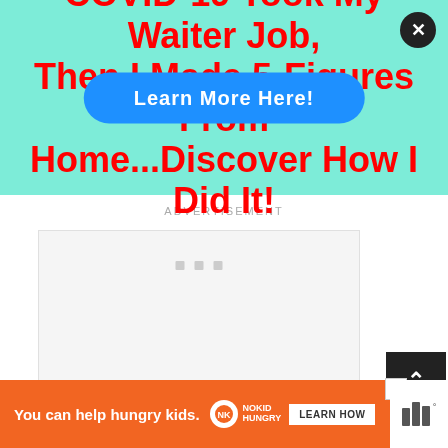COVID-19 Took My Waiter Job, Then I Made 5-Figures From Home...Discover How I Did It!
Learn More Here!
ADVERTISEMENT
[Figure (other): Advertisement placeholder box with three grey squares]
You can help hungry kids.
NOKID HUNGRY
LEARN HOW